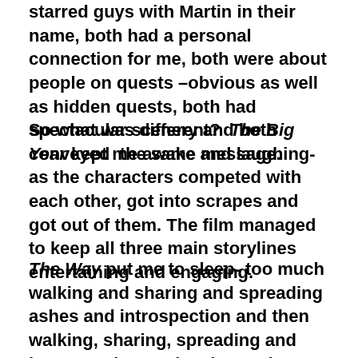starred guys with Martin in their name, both had a personal connection for me, both were about people on quests –obvious as well as hidden quests, both had spectacular scenery and both conveyed the same message.
So what was different? The Big Year kept me awake and laughing-as the characters competed with each other, got into scrapes and got out of them. The film managed to keep all three main storylines entertaining and engaging.
The Way put me to sleep- too much walking and sharing and spreading ashes and introspection and then walking, sharing, spreading and introspecting again. I honestly didn't care about the characters or get to know them very well. In The Big Year you